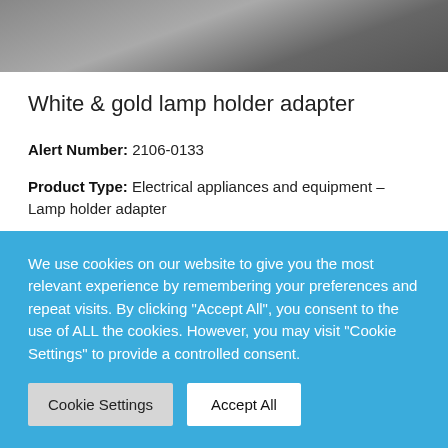[Figure (photo): Partial photograph of a lamp holder adapter product, dark/grey tones]
White & gold lamp holder adapter
Alert Number: 2106-0133
Product Type: Electrical appliances and equipment – Lamp holder adapter
Product Identifiers: Ali Express item number: 1264192664
We use cookies on our website to give you the most relevant experience by remembering your preferences and repeat visits. By clicking "Accept All", you consent to the use of ALL the cookies. However, you may visit "Cookie Settings" to provide a controlled consent.